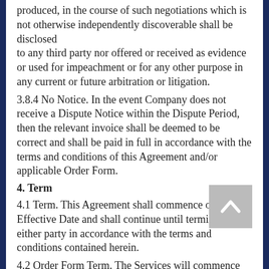produced, in the course of such negotiations which is not otherwise independently discoverable shall be disclosed to any third party nor offered or received as evidence or used for impeachment or for any other purpose in any current or future arbitration or litigation.
3.8.4 No Notice. In the event Company does not receive a Dispute Notice within the Dispute Period, then the relevant invoice shall be deemed to be correct and shall be paid in full in accordance with the terms and conditions of this Agreement and/or applicable Order Form.
4. Term
4.1 Term. This Agreement shall commence on the Effective Date and shall continue until terminated by either party in accordance with the terms and conditions contained herein.
4.2 Order Form Term. The Services will commence on the date set forth in the Order Form and continue